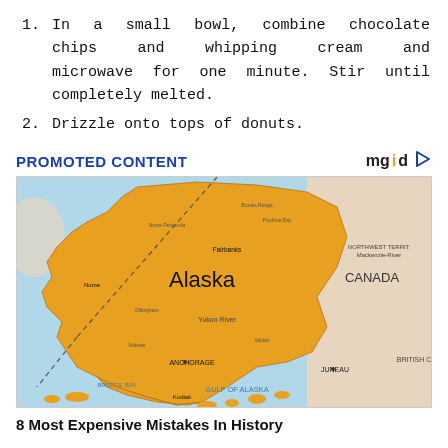1. In a small bowl, combine chocolate chips and whipping cream and microwave for one minute. Stir until completely melted.
2. Drizzle onto tops of donuts.
PROMOTED CONTENT
[Figure (map): Map of Alaska showing the state highlighted in orange/gold color, surrounded by Canada to the east and the Pacific Ocean to the south and west. Various city and region labels visible including Alaska, Canada, ANCHORAGE, Yukon River, Gulf of Alaska, Bristol Bay, etc.]
8 Most Expensive Mistakes In History